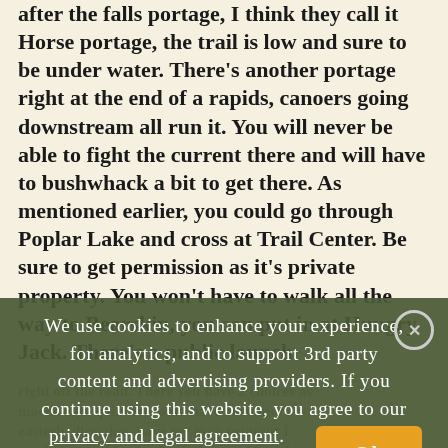after the falls portage, I think they call it Horse portage, the trail is low and sure to be under water. There's another portage right at the end of a rapids, canoers going downstream all run it. You will never be able to fight the current there and will have to bushwhack a bit to get there. As mentioned earlier, you could go through Poplar Lake and cross at Trail Center. Be sure to get permission as it's private property. You won't have to walk all the way to Bearskin, you can put in at Hungry Jack. There's a public launch right off the road. There you have 2 choices as
We use cookies to enhance your experience, for analytics, and to support 3rd party content and advertising providers. If you continue using this website, you agree to our privacy and legal agreement.
moons ago) quicker would have been more easterly direction. have my map printout I ran into a ranger the day before and he told me to stop at an outfitter on Poplar and get since it was after Labor Day. Then the road... About 3 years ago I was running English Rapids